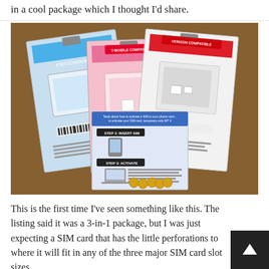in a cool package which I thought I'd share.
[Figure (photo): Photo of three SIM card packages (blue, pink, white) laid out on a brown surface, with an instruction card visible in front]
This is the first time I've seen something like this. The listing said it was a 3-in-1 package, but I was just expecting a SIM card that has the little perforations to where it will fit in any of the three major SIM card slot sizes.